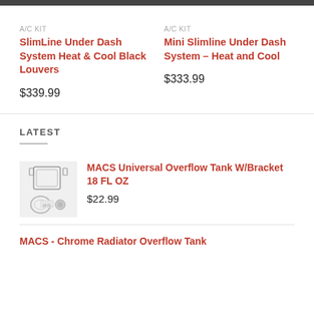A/C KIT
SlimLine Under Dash System Heat & Cool Black Louvers
$339.99
A/C KIT
Mini Slimline Under Dash System – Heat and Cool
$333.99
LATEST
MACS Universal Overflow Tank W/Bracket 18 FL OZ
$22.99
MACS - Chrome Radiator Overflow Tank